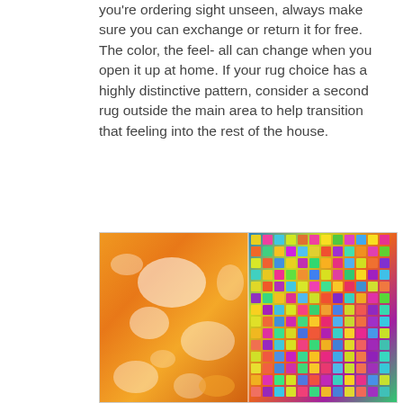you're ordering sight unseen, always make sure you can exchange or return it for free. The color, the feel- all can change when you open it up at home. If your rug choice has a highly distinctive pattern, consider a second rug outside the main area to help transition that feeling into the rest of the house.
[Figure (photo): Two colorful rugs side by side. Left rug is orange with white floral/abstract pattern. Right rug is multicolored with a mosaic/tile pattern in yellow, green, blue, orange, and pink.]